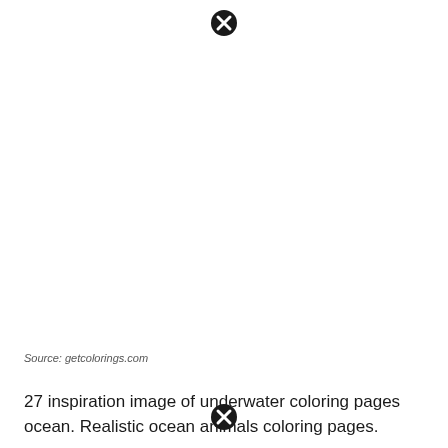[Figure (other): Close/cancel button icon (black circle with X) at top center of page]
Source: getcolorings.com
27 inspiration image of underwater coloring pages ocean. Realistic ocean animals coloring pages.
[Figure (other): Close/cancel button icon (black circle with X) at bottom center of page]